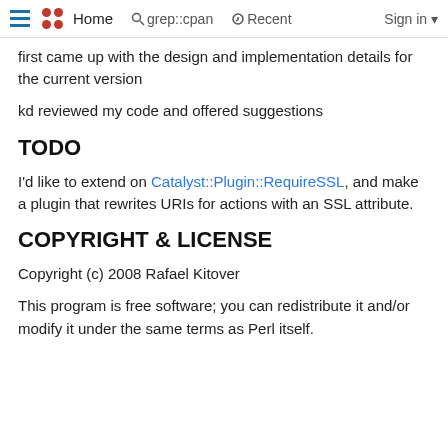Home   grep::cpan   Recent   Sign in
first came up with the design and implementation details for the current version
kd reviewed my code and offered suggestions
TODO
I'd like to extend on Catalyst::Plugin::RequireSSL, and make a plugin that rewrites URIs for actions with an SSL attribute.
COPYRIGHT & LICENSE
Copyright (c) 2008 Rafael Kitover
This program is free software; you can redistribute it and/or modify it under the same terms as Perl itself.